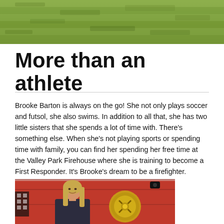[Figure (photo): Top portion of a grass field photo, cropped at top of page]
More than an athlete
Brooke Barton is always on the go!  She not only plays soccer and futsol, she also swims.  In addition to all that, she has two little sisters that she spends a lot of time with.  There's something else.  When she's not playing sports or spending time with family, you can find her spending her free time at the Valley Park Firehouse where she is training to become a First Responder.  It's Brooke's dream to be a firefighter.
[Figure (photo): Photo of a young woman (Brooke Barton) smiling in front of a red fire truck with a firefighter emblem visible]